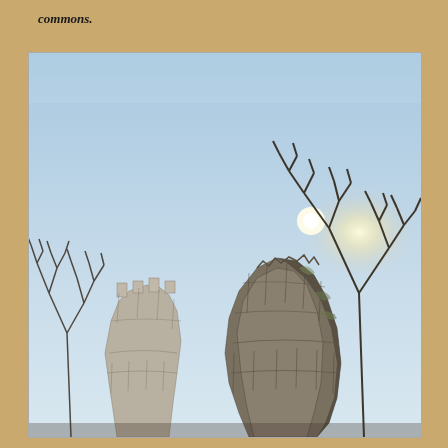commons.
[Figure (photo): Photograph looking up at two ancient stone tower ruins against a pale blue sky. Bare winter trees are visible behind the ruins. The sun is visible as a bright glare behind the right tower. The left tower has battlements at the top. The scene is captured from a low angle.]